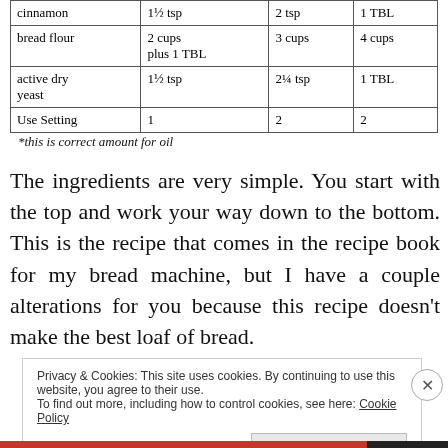|  | Small | Medium | Large |
| --- | --- | --- | --- |
| cinnamon | 1½ tsp | 2 tsp | 1 TBL |
| bread flour | 2 cups plus 1 TBL | 3 cups | 4 cups |
| active dry yeast | 1½ tsp | 2¼ tsp | 1 TBL |
| Use Setting | 1 | 2 | 2 |
*this is correct amount for oil
The ingredients are very simple. You start with the top and work your way down to the bottom. This is the recipe that comes in the recipe book for my bread machine, but I have a couple alterations for you because this recipe doesn't make the best loaf of bread.
Privacy & Cookies: This site uses cookies. By continuing to use this website, you agree to their use.
To find out more, including how to control cookies, see here: Cookie Policy
Close and accept